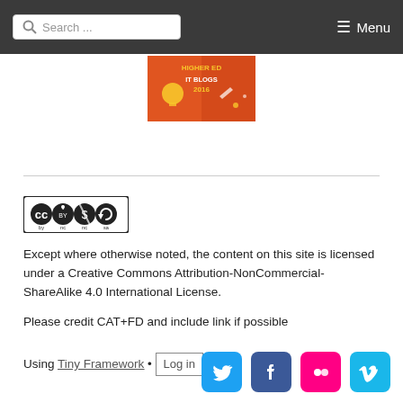Search ... Menu
[Figure (other): Higher Ed IT Blogs 2016 banner/badge image]
Except where otherwise noted, the content on this site is licensed under a Creative Commons Attribution-NonCommercial-ShareAlike 4.0 International License.
Please credit CAT+FD and include link if possible
Using Tiny Framework • Log in
[Figure (other): Social media icons: Twitter, Facebook, Flickr, Vimeo]